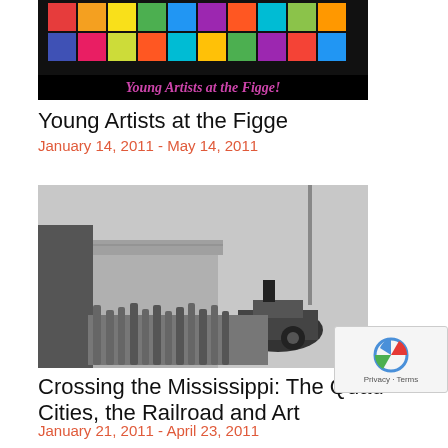[Figure (photo): Young Artists at the Figge banner — colorful painted squares on black background with text 'Young Artists at the Figge!']
Young Artists at the Figge
January 14, 2011 - May 14, 2011
[Figure (photo): Black and white historical photograph of a large crowd standing beside a steam locomotive in front of a building]
Crossing the Mississippi: The Quad Cities, the Railroad and Art
January 21, 2011 - April 23, 2011
[Figure (photo): Partial view of a third exhibit image at the bottom of the page]